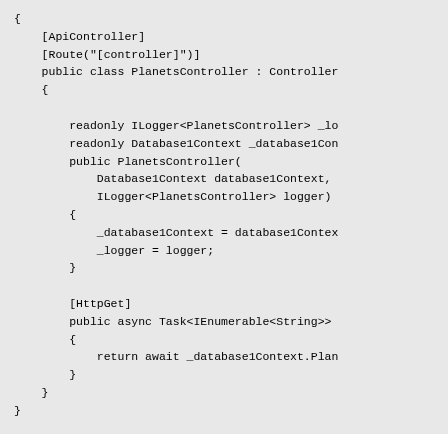[Figure (screenshot): Code screenshot showing a C# ASP.NET Core PlanetsController class with ApiController and Route attributes, constructor injection of Database1Context and ILogger, and an HttpGet action method returning IEnumerable<String> with await _database1Context.Plan...]
Unfortunately the call to this endpoint blows up with an exception, but since we injected the ILoggerFactory into our DbContext instance we can easily see what is the problem...